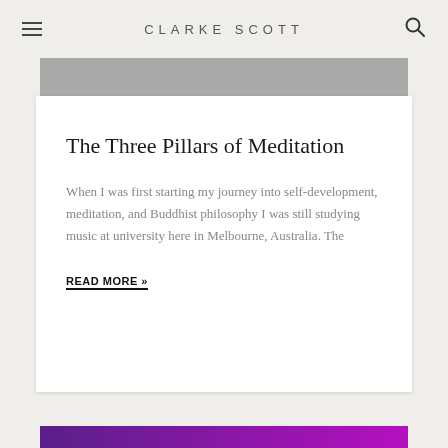CLARKE SCOTT
The Three Pillars of Meditation
When I was first starting my journey into self-development, meditation, and Buddhist philosophy I was still studying music at university here in Melbourne, Australia. The
READ MORE »